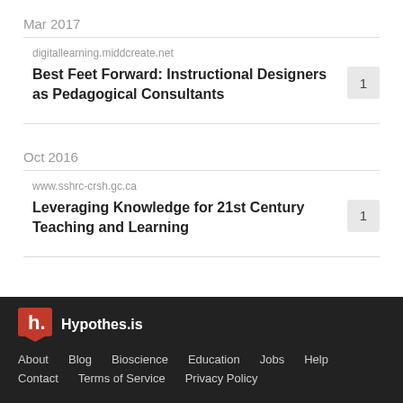Mar 2017
digitallearning.middcreate.net
Best Feet Forward: Instructional Designers as Pedagogical Consultants
Oct 2016
www.sshrc-crsh.gc.ca
Leveraging Knowledge for 21st Century Teaching and Learning
Hypothes.is  About  Blog  Bioscience  Education  Jobs  Help  Contact  Terms of Service  Privacy Policy